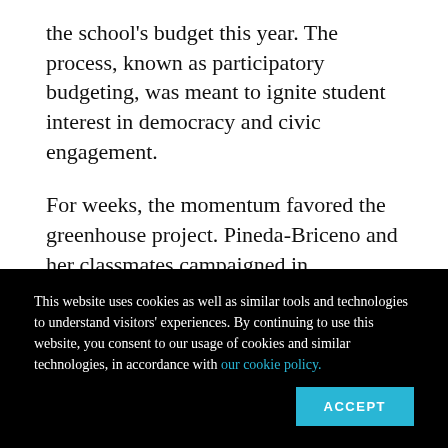the school's budget this year. The process, known as participatory budgeting, was meant to ignite student interest in democracy and civic engagement.
For weeks, the momentum favored the greenhouse project. Pineda-Briceno and her classmates campaigned in classrooms and hallways, put up posters and went out into the streets near their Gothic-style school building to
This website uses cookies as well as similar tools and technologies to understand visitors' experiences. By continuing to use this website, you consent to our usage of cookies and similar technologies, in accordance with our cookie policy.